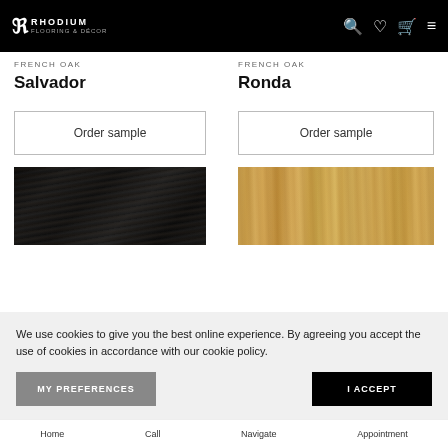Rhodium Flooring & Decor
FRENCH OAK
Salvador
Order sample
[Figure (photo): Dark black wood flooring texture]
FRENCH OAK
Ronda
Order sample
[Figure (photo): Light golden/natural wood flooring texture]
We use cookies to give you the best online experience. By agreeing you accept the use of cookies in accordance with our cookie policy.
MY PREFERENCES
I ACCEPT
Home   Call   Navigate   Appointment